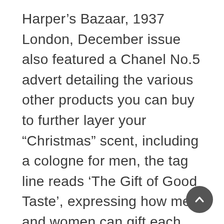Harper's Bazaar, 1937 London, December issue also featured a Chanel No.5 advert detailing the various other products you can buy to further layer your “Christmas” scent, including a cologne for men, the tag line reads ‘The Gift of Good Taste’, expressing how men and women can gift each other something synonymous with fashion. This idea is reflected in an advert from 1976 in which the various perfume products are detailed with the words, ‘You don’t have to ask for it. He knows what you want. Chanel No.5’, concluding how the fragrance has become intrinsic with gifting, lifestyle and